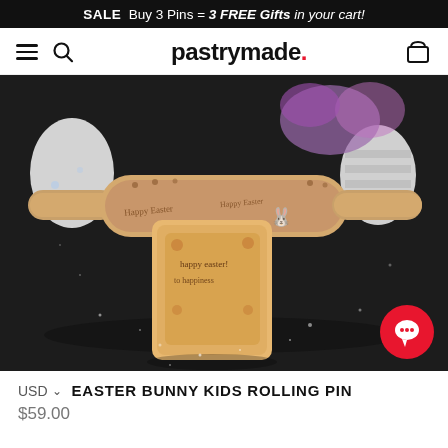SALE  Buy 3 Pins = 3 FREE Gifts in your cart!
[Figure (screenshot): Navigation bar with hamburger menu, search icon, pastrymade. logo, and shopping bag icon]
[Figure (photo): Photo of an Easter Bunny Kids Rolling Pin with engraved Easter bunny pattern, shown with cookie impression and Easter eggs on dark background]
USD   EASTER BUNNY KIDS ROLLING PIN
$59.00